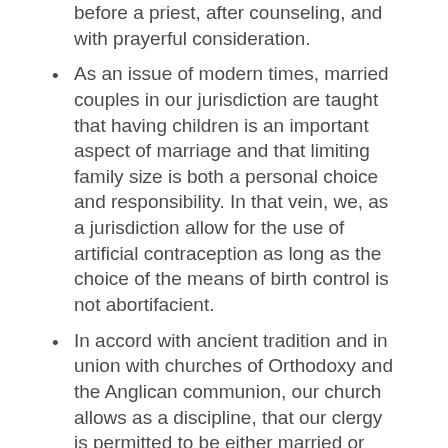before a priest, after counseling, and with prayerful consideration.
As an issue of modern times, married couples in our jurisdiction are taught that having children is an important aspect of marriage and that limiting family size is both a personal choice and responsibility. In that vein, we, as a jurisdiction allow for the use of artificial contraception as long as the choice of the means of birth control is not abortifacient.
In accord with ancient tradition and in union with churches of Orthodoxy and the Anglican communion, our church allows as a discipline, that our clergy is permitted to be either married or celibate.
SNOCC stands in contrast to the majority of churches claiming to be